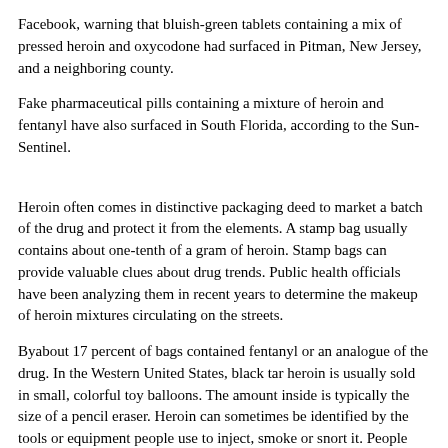Facebook, warning that bluish-green tablets containing a mix of pressed heroin and oxycodone had surfaced in Pitman, New Jersey, and a neighboring county.
Fake pharmaceutical pills containing a mixture of heroin and fentanyl have also surfaced in South Florida, according to the Sun-Sentinel.
Heroin often comes in distinctive packaging deed to market a batch of the drug and protect it from the elements. A stamp bag usually contains about one-tenth of a gram of heroin. Stamp bags can provide valuable clues about drug trends. Public health officials have been analyzing them in recent years to determine the makeup of heroin mixtures circulating on the streets.
Byabout 17 percent of bags contained fentanyl or an analogue of the drug. In the Western United States, black tar heroin is usually sold in small, colorful toy balloons. The amount inside is typically the size of a pencil eraser. Heroin can sometimes be identified by the tools or equipment people use to inject, smoke or snort it. People who smoke heroin will often have aluminum foil, lighters and candles. They commonly use objects such as straws or pipes to inhale the smoke. If you believe someone close to you may be